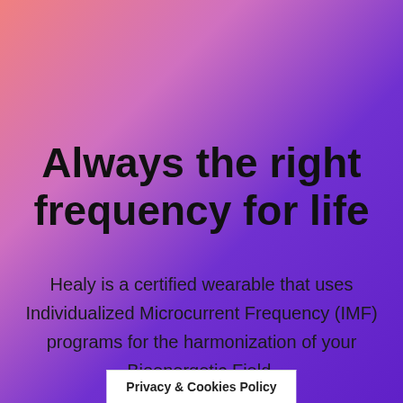Always the right frequency for life
Healy is a certified wearable that uses Individualized Microcurrent Frequency (IMF) programs for the harmonization of your Bioenergetic Field.
Privacy & Cookies Policy